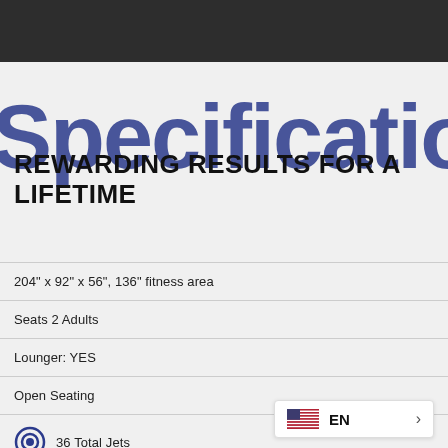Specifications
REWARDING RESULTS FOR A LIFETIME
204" x 92" x 56", 136" fitness area
Seats 2 Adults
Lounger: YES
Open Seating
36 Total Jets
Spa Volume: 9160 L
Spa Volume: 2420 gal
EN